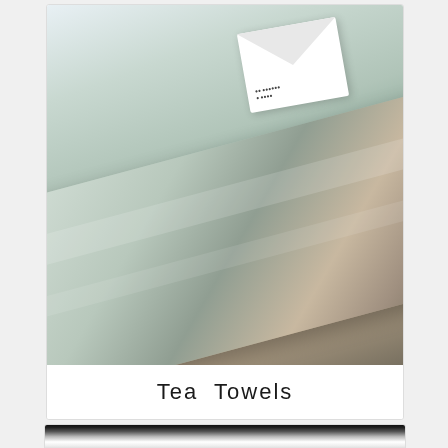[Figure (photo): A folded tea towel with a printed cityscape/architectural scene, displayed at an angle with a small white envelope/tag on top]
Tea Towels
[Figure (photo): A white ceramic mug photographed in close-up, partially visible at the bottom of the page, with blurred dark background]